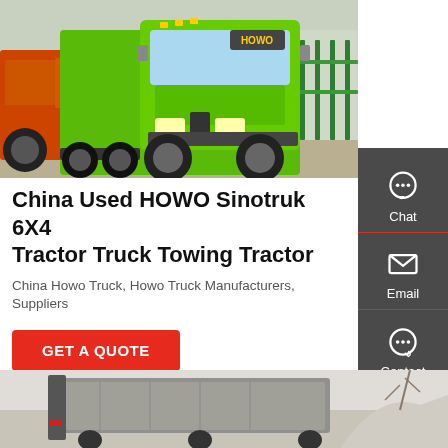[Figure (photo): Green HOWO Sinotruk 6X4 tractor truck parked in a yard with fence in background]
China Used HOWO Sinotruk 6X4 Tractor Truck Towing Tractor
China Howo Truck, Howo Truck Manufacturers, Suppliers
GET A QUOTE
[Figure (photo): Partial view of a truck cargo area covered with tarp, outdoor setting]
[Figure (infographic): Sidebar with Chat, Email, and Contact icons on dark grey background]